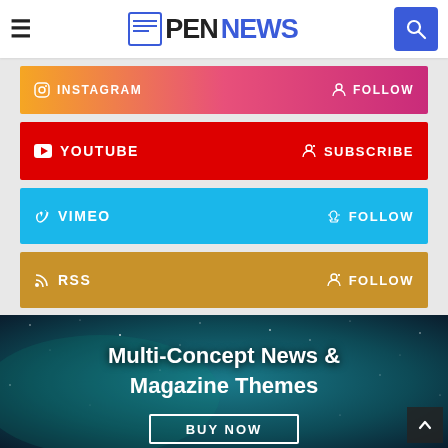PEN NEWS
[Figure (screenshot): Social media follow buttons: Instagram gradient bar, YouTube red bar with Subscribe, Vimeo blue bar with Follow, RSS gold bar with Follow]
[Figure (photo): Dark teal starry sky background banner with text: Multi-Concept News & Magazine Themes and a BUY NOW button]